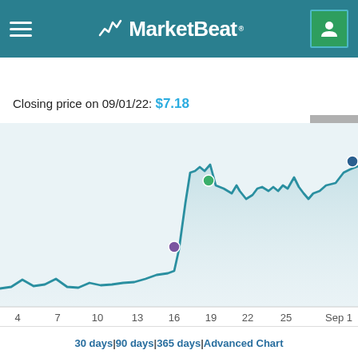MarketBeat
PROFILE | ANALYST RATINGS | CHART | COMPETITORS | EARNINGS | FINANCIAL
Closing price on 09/01/22: $7.18
[Figure (line-chart): Line chart showing stock price over ~30 days from Aug 4 to Sep 1, with price rising sharply around Aug 16-19. Green dot near Aug 19, purple dot near Aug 16. Final blue dot at Sep 1 at $7.18.]
30 days | 90 days | 365 days | Advanced Chart